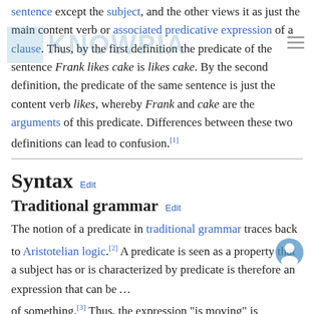sentence except the subject, and the other views it as just the main content verb or associated predicative expression of a clause. Thus, by the first definition the predicate of the sentence Frank likes cake is likes cake. By the second definition, the predicate of the same sentence is just the content verb likes, whereby Frank and cake are the arguments of this predicate. Differences between these two definitions can lead to confusion.[1]
Syntax  Edit
Traditional grammar  Edit
The notion of a predicate in traditional grammar traces back to Aristotelian logic.[2] A predicate is seen as a property that a subject has or is characterized by predicate is therefore an expression that can be ... of something.[3] Thus, the expression "is moving" is